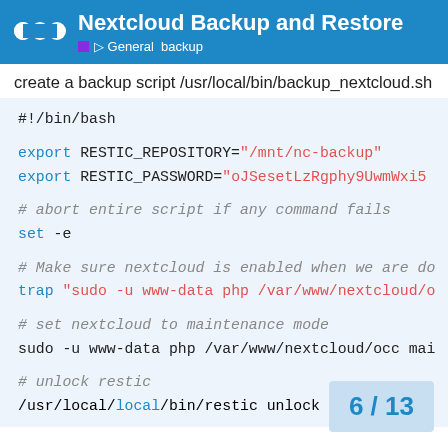Nextcloud Backup and Restore — General backup
create a backup script /usr/local/bin/backup_nextcloud.sh
[Figure (screenshot): Code block showing a bash script: shebang line, export RESTIC_REPOSITORY and RESTIC_PASSWORD, abort on error with set -e, trap command to re-enable nextcloud, set nextcloud to maintenance mode, and unlock restic commands]
6 / 13